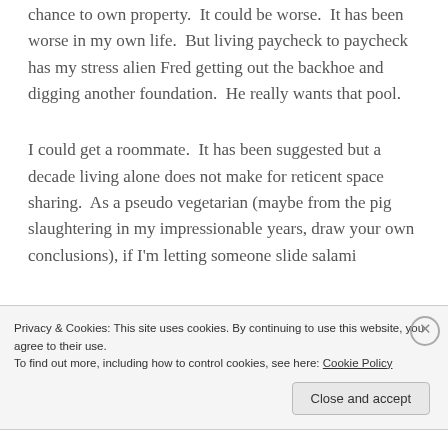chance to own property.  It could be worse.  It has been worse in my own life.  But living paycheck to paycheck has my stress alien Fred getting out the backhoe and digging another foundation.  He really wants that pool.
I could get a roommate.  It has been suggested but a decade living alone does not make for reticent space sharing.  As a pseudo vegetarian (maybe from the pig slaughtering in my impressionable years, draw your own conclusions), if I'm letting someone slide salami
Privacy & Cookies: This site uses cookies. By continuing to use this website, you agree to their use.
To find out more, including how to control cookies, see here: Cookie Policy
Close and accept